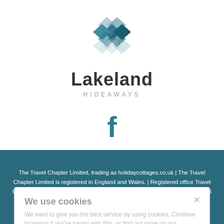[Figure (logo): Lakeland Hideaways logo with diamond/kite shapes in teal and grey tones above the text 'Lakeland' and 'HIDEAWAYS']
[Figure (logo): Facebook 'f' icon in teal color]
Powered by holidaycottages.co.uk
Lakeland Hideaways part of the travelchapter
We use cookies
We want to give you the best service by using cookies. Continue browsing if you're happy with this, or find out more on our cookies.
The Travel Chapter Limited, trading as holidaycottages.co.uk | The Travel Chapter Limited is registered in England and Wales. | Registered office Travel Chapter House Gammaton Road Bideford EX39 4DF Company No. 02431506 | VAT reg: 143053210